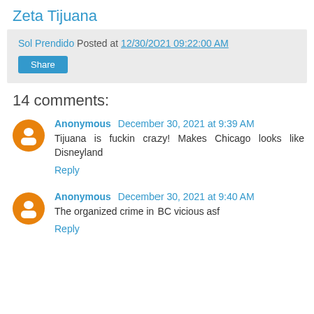Zeta Tijuana
Sol Prendido Posted at 12/30/2021 09:22:00 AM
Share
14 comments:
Anonymous December 30, 2021 at 9:39 AM
Tijuana is fuckin crazy! Makes Chicago looks like Disneyland
Reply
Anonymous December 30, 2021 at 9:40 AM
The organized crime in BC vicious asf
Reply